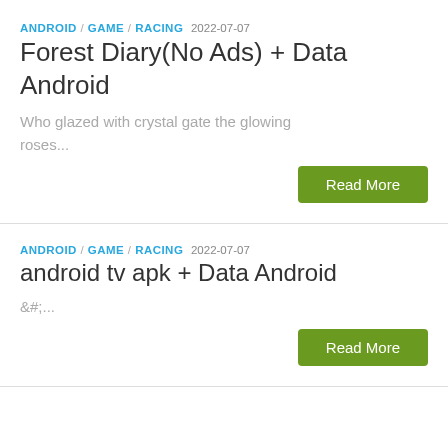ANDROID / GAME / RACING  2022-07-07
Forest Diary(No Ads) + Data Android
Who glazed with crystal gate the glowing roses...
Read More
ANDROID / GAME / RACING  2022-07-07
android tv apk + Data Android
&#;...
Read More